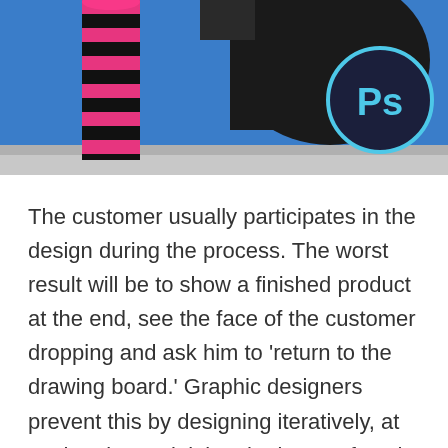[Figure (photo): A photograph showing pink and black striped high-heeled boot/leg on the left against a blue background with a large black shape, and an Adobe Photoshop 'Ps' logo badge (dark navy circle with cyan border and cyan 'Ps' text) in the upper right corner.]
The customer usually participates in the design during the process. The worst result will be to show a finished product at the end, see the face of the customer dropping and ask him to 'return to the drawing board.' Graphic designers prevent this by designing iteratively, at each point explaining the intent of each design feature and periodically discussing it in detail. This helps the team to